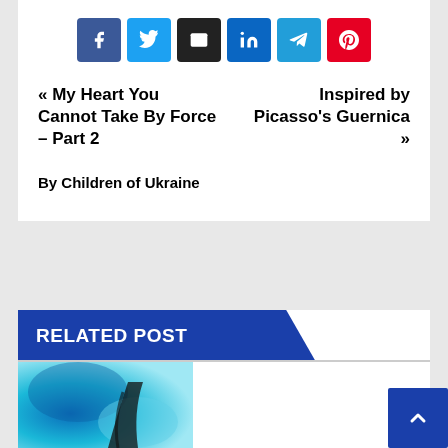[Figure (other): Social share buttons: Facebook, Twitter, Email, LinkedIn, Telegram, Pinterest]
« My Heart You Cannot Take By Force – Part 2
Inspired by Picasso's Guernica »
By Children of Ukraine
RELATED POST
[Figure (photo): Blue abstract fluid art image, appears to show swirling blue and teal colors with a dark figure silhouette]